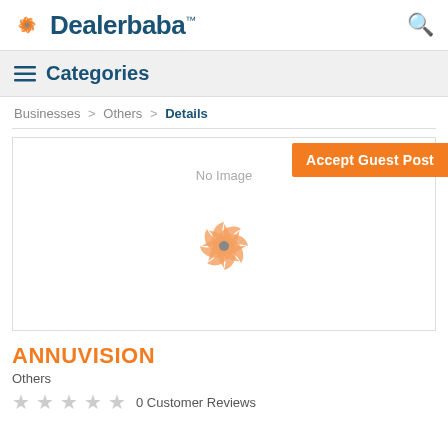Dealerbaba™
Categories
Businesses > Others > Details
Accept Guest Post
[Figure (illustration): No Image placeholder with Dealerbaba pinwheel logo in orange]
ANNUVISION
Others
0 Customer Reviews